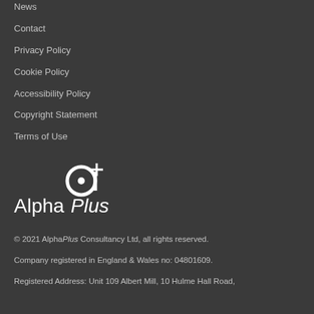News
Contact
Privacy Policy
Cookie Policy
Accessibility Policy
Copyright Statement
Terms of Use
[Figure (logo): AlphaPlus logo: stylized letter 'a' with a plus sign, followed by text 'Alpha' in regular weight and 'Plus' in italic]
© 2021 AlphaPlus Consultancy Ltd, all rights reserved.
Company registered in England & Wales no: 04801609.
Registered Address: Unit 109 Albert Mill, 10 Hulme Hall Road,